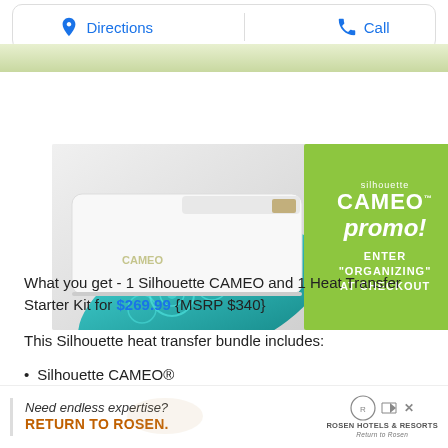[Figure (screenshot): Top navigation bar with Directions and Call buttons, and a partial map strip below]
[Figure (photo): Silhouette CAMEO cutting machine with teal patterned paper being cut, next to a green promotional box reading 'silhouette CAMEO promo! ENTER ORGANIZING AT CHECKOUT']
What you get - 1 Silhouette CAMEO and 1 Heat Transfer Starter Kit for $269.99 {MSRP $340}
This Silhouette heat transfer bundle includes:
Silhouette CAMEO®
[Figure (screenshot): Advertisement banner: 'Need endless expertise? RETURN TO ROSEN.' with Rosen Hotels & Resorts logo and a dismiss button]